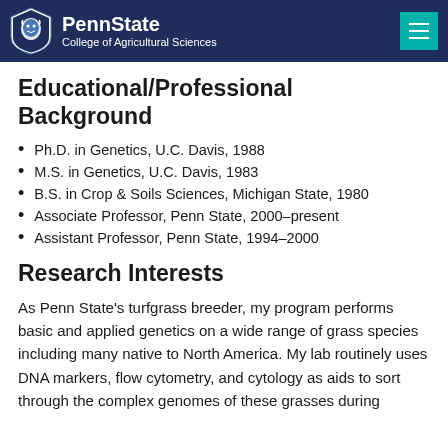PennState College of Agricultural Sciences
Educational/Professional Background
Ph.D. in Genetics, U.C. Davis, 1988
M.S. in Genetics, U.C. Davis, 1983
B.S. in Crop & Soils Sciences, Michigan State, 1980
Associate Professor, Penn State, 2000–present
Assistant Professor, Penn State, 1994–2000
Research Interests
As Penn State's turfgrass breeder, my program performs basic and applied genetics on a wide range of grass species including many native to North America. My lab routinely uses DNA markers, flow cytometry, and cytology as aids to sort through the complex genomes of these grasses during